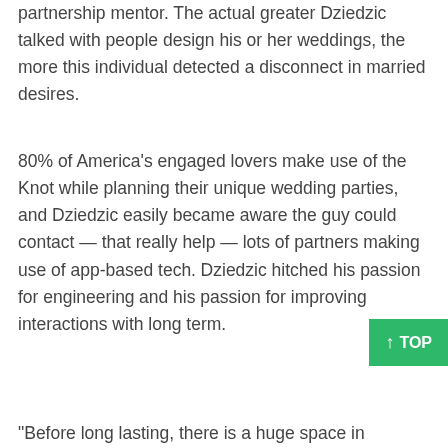partnership mentor. The actual greater Dziedzic talked with people design his or her weddings, the more this individual detected a disconnect in married desires.
80% of America's engaged lovers make use of the Knot while planning their unique wedding parties, and Dziedzic easily became aware the guy could contact — that really help — lots of partners making use of app-based tech. Dziedzic hitched his passion for engineering and his passion for improving interactions with long term.
“Before long lasting, there is a huge space in